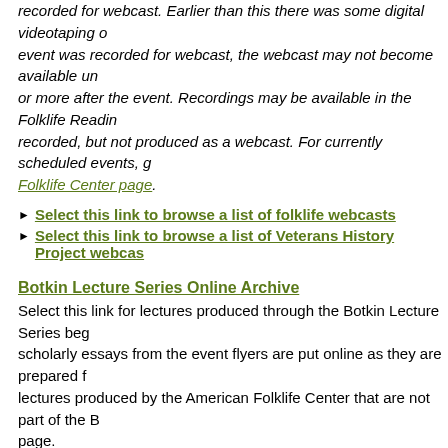recorded for webcast. Earlier than this there was some digital videotaping of the event was recorded for webcast, the webcast may not become available until a week or more after the event. Recordings may be available in the Folklife Reading Room if recorded, but not produced as a webcast. For currently scheduled events, go to the Folklife Center page.
Select this link to browse a list of folklife webcasts
Select this link to browse a list of Veterans History Project webcasts
Botkin Lecture Series Online Archive
Select this link for lectures produced through the Botkin Lecture Series beginning with scholarly essays from the event flyers are put online as they are prepared for lectures produced by the American Folklife Center that are not part of the Botkin page.
Homegrown Concert Series Online Archive
Select this link for concerts produced through the Homegrown Concert Series begining with the 2005 season. Two short video excerpts from a concert produced, scholarly essays from the event flyers are put online as they are prepared for produced by the American Folklife Center that are not part of the Homegrown Homegrown Online Archive page.
National Visionary Leadership Project Collection Showcase